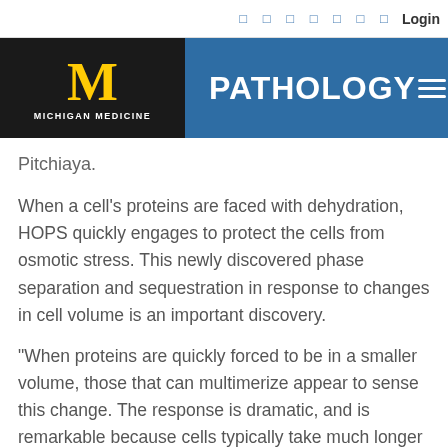PATHOLOGY — Michigan Medicine
Pitchiaya.
When a cell's proteins are faced with dehydration, HOPS quickly engages to protect the cells from osmotic stress. This newly discovered phase separation and sequestration in response to changes in cell volume is an important discovery.
“When proteins are quickly forced to be in a smaller volume, those that can multimerize appear to sense this change. The response is dramatic, and is remarkable because cells typically take much longer to respond to changes in the environment,” says Jalihal.